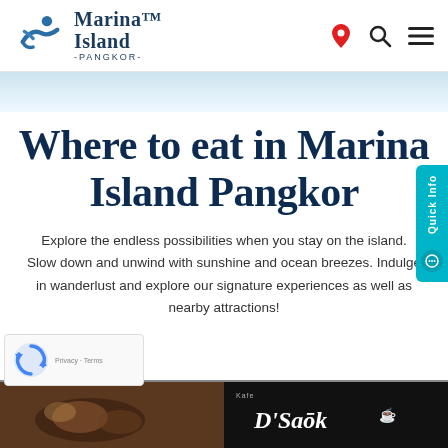[Figure (logo): Marina Island Pangkor logo — stylized blue swimmer/figure icon with text 'Marina Island -PANGKOR-']
[Figure (infographic): Navigation icons: red location pin, search magnifier, hamburger menu]
Where to eat in Marina Island Pangkor
Explore the endless possibilities when you stay on the island. Slow down and unwind with sunshine and ocean breezes. Indulge in wanderlust and explore our signature experiences as well as nearby attractions!
[Figure (infographic): Quick Info vertical teal sidebar tab with circular chat icon]
[Figure (photo): Food photo on left side bottom — dark toned dish/plate]
[Figure (photo): D'Saok restaurant signage on right side bottom — dark background with stylized text]